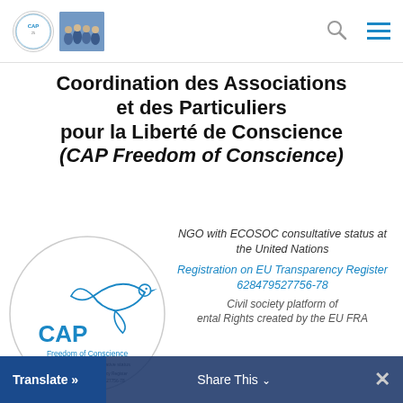CAP Freedom of Conscience — website header with logo and navigation icons
Coordination des Associations et des Particuliers pour la Liberté de Conscience (CAP Freedom of Conscience)
[Figure (logo): CAP Freedom of Conscience circular logo with a dove and text: CAP Freedom of Conscience, NGO with ECOSOC consultative status]
NGO with ECOSOC consultative status at the United Nations
Registration on EU Transparency Register 628479527756-78
Civil society platform of Fundamental Rights created by the EU FRA